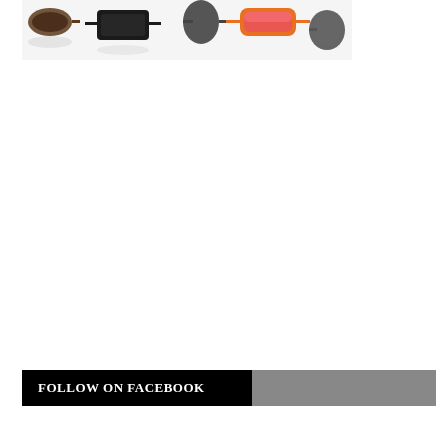[Figure (photo): Overhead flat lay photo of multiple sunglasses in various styles and colors (black, brown, gray, orange/pink mirrored) arranged on a white background]
FOLLOW ON FACEBOOK